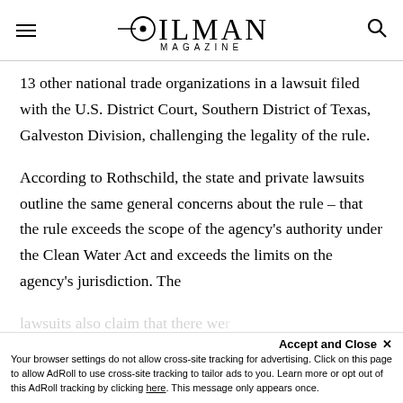OILMAN MAGAZINE
13 other national trade organizations in a lawsuit filed with the U.S. District Court, Southern District of Texas, Galveston Division, challenging the legality of the rule.
According to Rothschild, the state and private lawsuits outline the same general concerns about the rule – that the rule exceeds the scope of the agency's authority under the Clean Water Act and exceeds the limits on the agency's jurisdiction. The lawsuits also claim that there were...
Accept and Close ×
Your browser settings do not allow cross-site tracking for advertising. Click on this page to allow AdRoll to use cross-site tracking to tailor ads to you. Learn more or opt out of this AdRoll tracking by clicking here. This message only appears once.